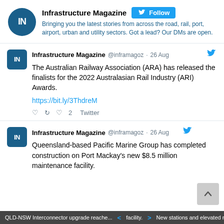[Figure (screenshot): Twitter/X profile header for Infrastructure Magazine showing logo, name, Follow button, and bio text]
Infrastructure Magazine  Follow  Bringing you the latest stories from across the road, rail, port, airport, urban and utility sectors. Got a lead? Our DMs are open.
Infrastructure Magazine @inframagoz · 26 Aug  The Australian Railway Association (ARA) has released the finalists for the 2022 Australasian Rail Industry (ARI) Awards.  https://bit.ly/3ThdreM  ♡ 2  Twitter
Infrastructure Magazine @inframagoz · 26 Aug  Queensland-based Pacific Marine Group has completed construction on Port Mackay's new $8.5 million maintenance facility.
QLD-NSW Interconnector upgrade reache...   < facility. >   New stations and elevated rail for Perth l...